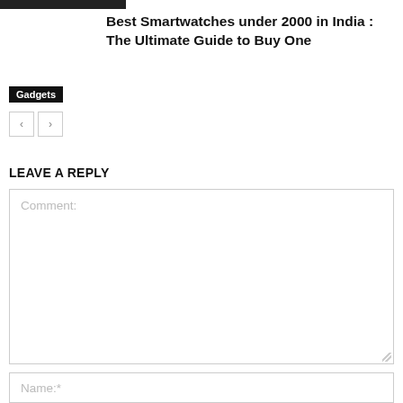Best Smartwatches under 2000 in India : The Ultimate Guide to Buy One
Gadgets
LEAVE A REPLY
Comment:
Name:*